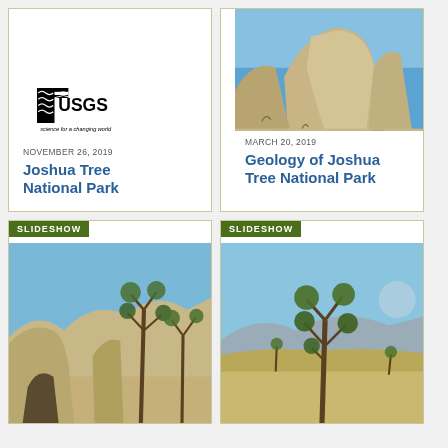[Figure (logo): USGS logo with text 'science for a changing world']
NOVEMBER 26, 2019
Joshua Tree National Park
[Figure (photo): Large granite boulder rock formations at Joshua Tree National Park against a bright blue sky]
MARCH 20, 2019
Geology of Joshua Tree National Park
[Figure (photo): SLIDESHOW: Joshua trees and boulder formations at Joshua Tree National Park]
[Figure (photo): SLIDESHOW: Joshua tree in desert landscape with mountains in background at Joshua Tree National Park]